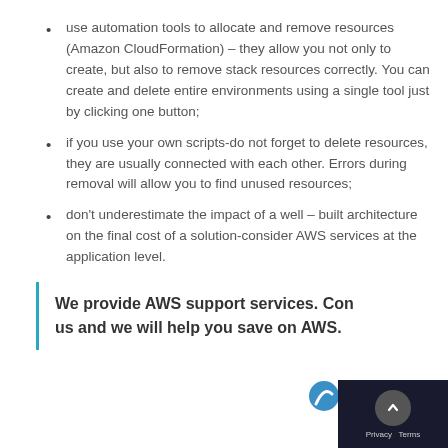use automation tools to allocate and remove resources (Amazon CloudFormation) – they allow you not only to create, but also to remove stack resources correctly. You can create and delete entire environments using a single tool just by clicking one button;
if you use your own scripts-do not forget to delete resources, they are usually connected with each other. Errors during removal will allow you to find unused resources;
don't underestimate the impact of a well – built architecture on the final cost of a solution-consider AWS services at the application level.
We provide AWS support services. Contact us and we will help you save on AWS.